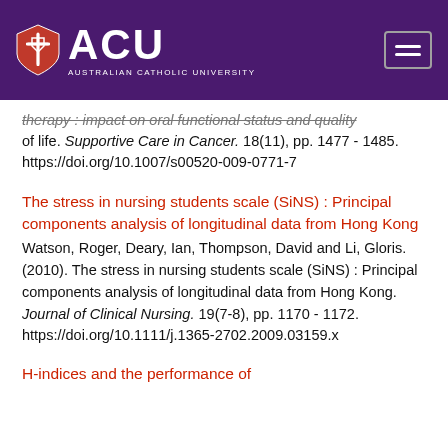ACU - Australian Catholic University
therapy : impact on oral functional status and quality of life. Supportive Care in Cancer. 18(11), pp. 1477 - 1485. https://doi.org/10.1007/s00520-009-0771-7
The stress in nursing students scale (SiNS) : Principal components analysis of longitudinal data from Hong Kong
Watson, Roger, Deary, Ian, Thompson, David and Li, Gloris. (2010). The stress in nursing students scale (SiNS) : Principal components analysis of longitudinal data from Hong Kong. Journal of Clinical Nursing. 19(7-8), pp. 1170 - 1172. https://doi.org/10.1111/j.1365-2702.2009.03159.x
H-indices and the performance of